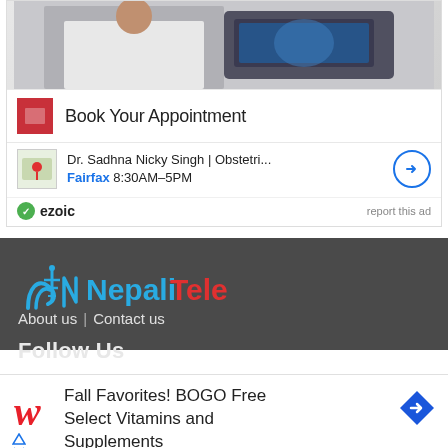[Figure (screenshot): Top ad unit showing medical imaging equipment with person in white coat. Contains 'Book Your Appointment' header with red icon, Dr. Sadhna Nicky Singh doctor listing with map thumbnail, Fairfax 8:30AM-5PM hours, and ezoic attribution with 'report this ad' link.]
[Figure (logo): NepaliTelecom logo with blue antenna/wave icon and NepaliTelecom text (Nepali in blue, Telecom in red)]
About us | Contact us
Follow Us
[Figure (screenshot): Bottom ad unit for Walgreens showing 'Fall Favorites! BOGO Free Select Vitamins and Supplements' with Walgreens logo and blue diamond arrow button.]